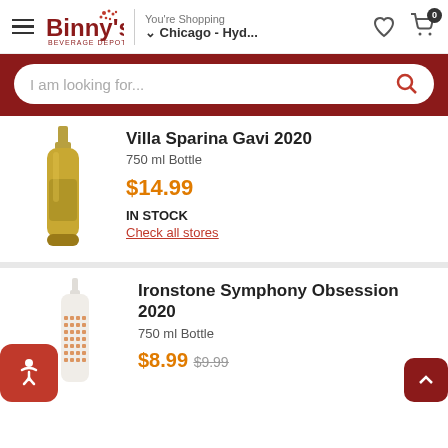Binny's Beverage Depot — You're Shopping Chicago - Hyd...
I am looking for...
Villa Sparina Gavi 2020
750 ml Bottle
$14.99
IN STOCK
Check all stores
Ironstone Symphony Obsession 2020
750 ml Bottle
$8.99  $9.99